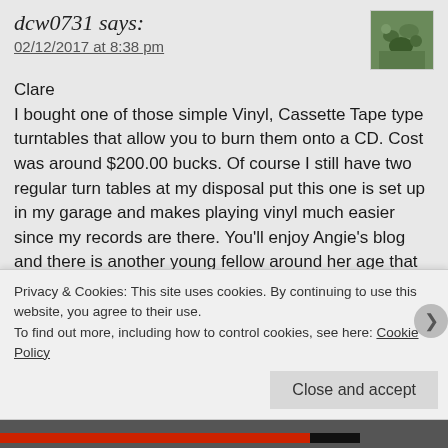dcw0731 says:
02/12/2017 at 8:38 pm
Clare
I bought one of those simple Vinyl, Cassette Tape type turntables that allow you to burn them onto a CD. Cost was around $200.00 bucks. Of course I still have two regular turn tables at my disposal put this one is set up in my garage and makes playing vinyl much easier since my records are there. You'll enjoy Angie's blog and there is another young fellow around her age that does music blogs that I'll feature in the near future. That song for his blog just hasn't come to me yet but it will.
Privacy & Cookies: This site uses cookies. By continuing to use this website, you agree to their use.
To find out more, including how to control cookies, see here: Cookie Policy
Close and accept